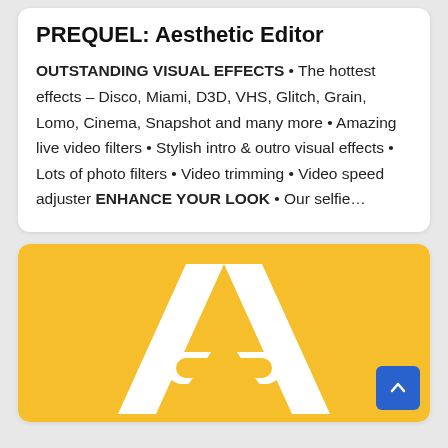PREQUEL: Aesthetic Editor
OUTSTANDING VISUAL EFFECTS • The hottest effects – Disco, Miami, D3D, VHS, Glitch, Grain, Lomo, Cinema, Snapshot and many more • Amazing live video filters • Stylish intro & outro visual effects • Lots of photo filters • Video trimming • Video speed adjuster ENHANCE YOUR LOOK • Our selfie…
[Figure (logo): Yellow background with a white letter A logo (app icon style), representing the PREQUEL app icon.]